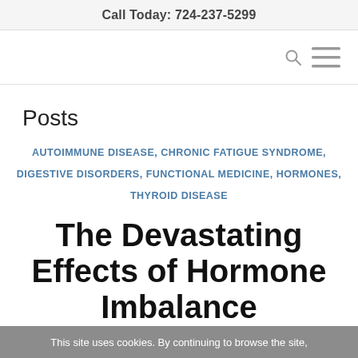Call Today: 724-237-5299
[Figure (other): Navigation bar with search icon and hamburger menu icon on the right]
Posts
AUTOIMMUNE DISEASE, CHRONIC FATIGUE SYNDROME, DIGESTIVE DISORDERS, FUNCTIONAL MEDICINE, HORMONES, THYROID DISEASE
The Devastating Effects of Hormone Imbalance
This site uses cookies. By continuing to browse the site,